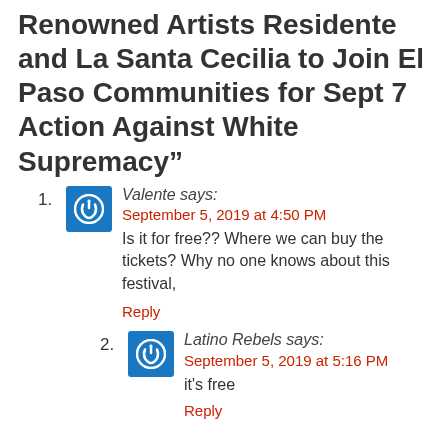Renowned Artists Residente and La Santa Cecilia to Join El Paso Communities for Sept 7 Action Against White Supremacy”
1. Valente says: September 5, 2019 at 4:50 PM
Is it for free?? Where we can buy the tickets? Why no one knows about this festival,
Reply
2. Latino Rebels says: September 5, 2019 at 5:16 PM
it’s free
Reply